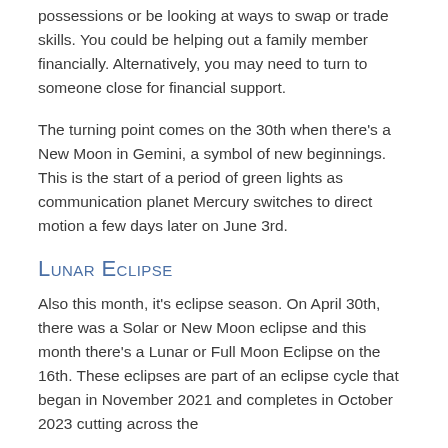possessions or be looking at ways to swap or trade skills. You could be helping out a family member financially. Alternatively, you may need to turn to someone close for financial support.
The turning point comes on the 30th when there's a New Moon in Gemini, a symbol of new beginnings. This is the start of a period of green lights as communication planet Mercury switches to direct motion a few days later on June 3rd.
Lunar Eclipse
Also this month, it's eclipse season. On April 30th, there was a Solar or New Moon eclipse and this month there's a Lunar or Full Moon Eclipse on the 16th. These eclipses are part of an eclipse cycle that began in November 2021 and completes in October 2023 cutting across the